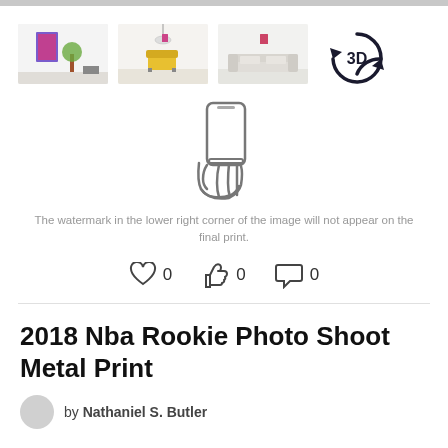[Figure (screenshot): Top gray bar indicating browser/UI chrome]
[Figure (photo): Three room-scene thumbnail images and a 3D rotation icon showing product placement views]
[Figure (illustration): Hand holding smartphone outline icon representing AR/mobile preview feature]
The watermark in the lower right corner of the image will not appear on the final print.
[Figure (infographic): Social interaction icons: heart (0), thumbs up (0), comment bubble (0)]
2018 Nba Rookie Photo Shoot Metal Print
by Nathaniel S. Butler